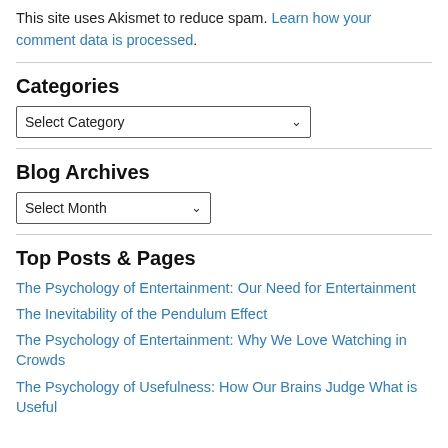This site uses Akismet to reduce spam. Learn how your comment data is processed.
Categories
Select Category (dropdown)
Blog Archives
Select Month (dropdown)
Top Posts & Pages
The Psychology of Entertainment: Our Need for Entertainment
The Inevitability of the Pendulum Effect
The Psychology of Entertainment: Why We Love Watching in Crowds
The Psychology of Usefulness: How Our Brains Judge What is Useful